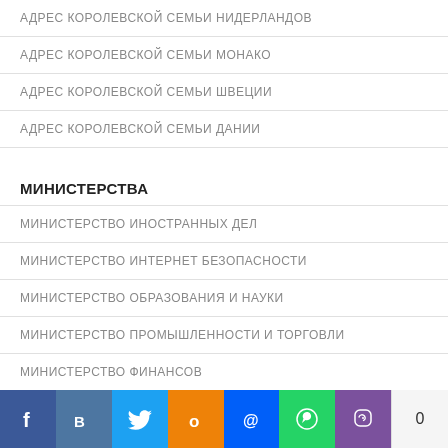АДРЕС КОРОЛЕВСКОЙ СЕМЬИ НИДЕРЛАНДОВ
АДРЕС КОРОЛЕВСКОЙ СЕМЬИ МОНАКО
АДРЕС КОРОЛЕВСКОЙ СЕМЬИ ШВЕЦИИ
АДРЕС КОРОЛЕВСКОЙ СЕМЬИ ДАНИИ
МИНИСТЕРСТВА
МИНИСТЕРСТВО ИНОСТРАННЫХ ДЕЛ
МИНИСТЕРСТВО ИНТЕРНЕТ БЕЗОПАСНОСТИ
МИНИСТЕРСТВО ОБРАЗОВАНИЯ И НАУКИ
МИНИСТЕРСТВО ПРОМЫШЛЕННОСТИ И ТОРГОВЛИ
МИНИСТЕРСТВО ФИНАНСОВ
ПОЛИТИКА
ПОЛИТИКА КОНФИДЕНЦИАЛЬНОСТИ
[Figure (infographic): Social sharing bar with Facebook, VK, Twitter, Odnoklassniki, Mail.ru, WhatsApp, Viber buttons and a count of 0]